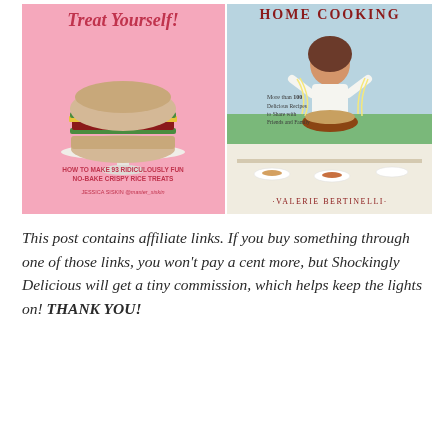[Figure (photo): Two cookbook covers side by side. Left: 'Treat Yourself!' by Jessica Siskin (@master_siskin) — pink background with a rice crispy treat shaped like a burger on a white cake stand, subtitle 'HOW TO MAKE 93 RIDICULOUSLY FUN NO-BAKE CRISPY RICE TREATS'. Right: 'Home Cooking' by Valerie Bertinelli — outdoor dinner party scene with woman pulling pasta, subtitle 'More than 100 Delicious Recipes to Share with Friends and Family'.]
This post contains affiliate links. If you buy something through one of those links, you won't pay a cent more, but Shockingly Delicious will get a tiny commission, which helps keep the lights on! THANK YOU!